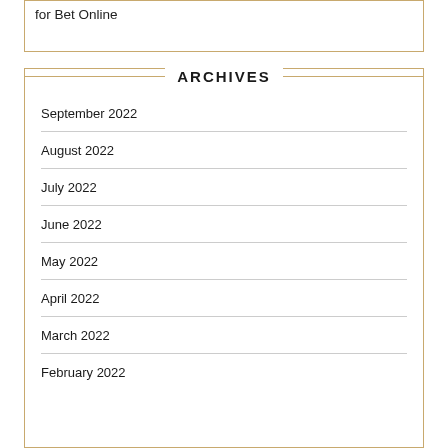for Bet Online
ARCHIVES
September 2022
August 2022
July 2022
June 2022
May 2022
April 2022
March 2022
February 2022